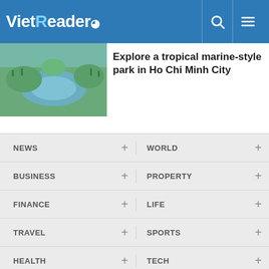VietReader
[Figure (photo): Aerial view of a tropical waterway with lush greenery and curved shoreline]
Explore a tropical marine-style park in Ho Chi Minh City
NEWS +
WORLD +
BUSINESS +
PROPERTY +
FINANCE +
LIFE +
TRAVEL +
SPORTS +
HEALTH +
TECH +
VietReader